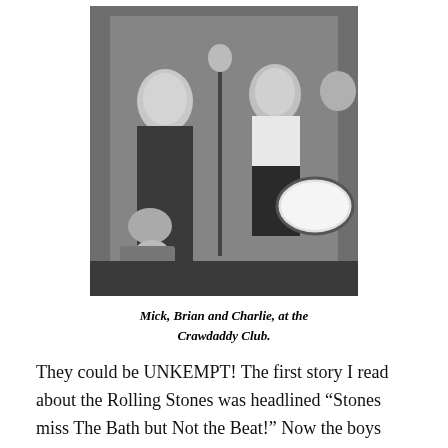[Figure (photo): Black and white photograph of Mick, Brian and Charlie performing at the Crawdaddy Club. Two figures are visible near a microphone stand on stage, with a drum kit visible in the background.]
Mick, Brian and Charlie, at the Crawdaddy Club.
They could be UNKEMPT! The first story I read about the Rolling Stones was headlined “Stones miss The Bath but Not the Beat!” Now the boys themselves always denied being dirty. A lot of the early image was